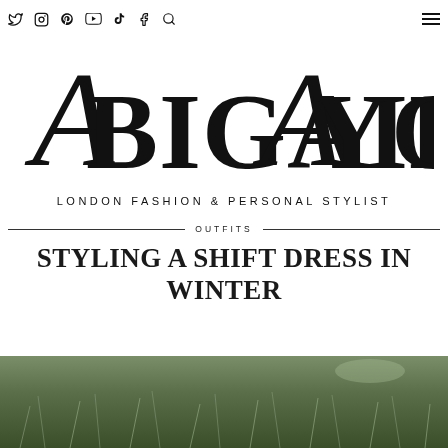Social media navigation icons (Twitter, Instagram, Pinterest, YouTube, TikTok, Facebook, Search) and hamburger menu
[Figure (logo): Abigail Ayoola London Fashion & Personal Stylist logo in decorative script and serif typography]
OUTFITS
STYLING A SHIFT DRESS IN WINTER
[Figure (photo): Top portion of an outdoor photograph showing green grass or foliage]